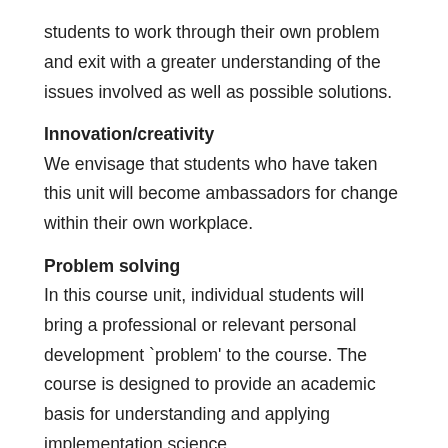students to work through their own problem and exit with a greater understanding of the issues involved as well as possible solutions.
Innovation/creativity
We envisage that students who have taken this unit will become ambassadors for change within their own workplace.
Problem solving
In this course unit, individual students will bring a professional or relevant personal development `problem' to the course. The course is designed to provide an academic basis for understanding and applying implementation science.